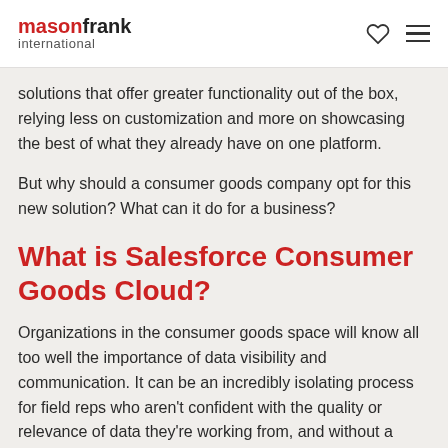mason frank international
solutions that offer greater functionality out of the box, relying less on customization and more on showcasing the best of what they already have on one platform.
But why should a consumer goods company opt for this new solution? What can it do for a business?
What is Salesforce Consumer Goods Cloud?
Organizations in the consumer goods space will know all too well the importance of data visibility and communication. It can be an incredibly isolating process for field reps who aren't confident with the quality or relevance of data they're working from, and without a reliable mobile CRM or data platform, the quality of that information will compromise...